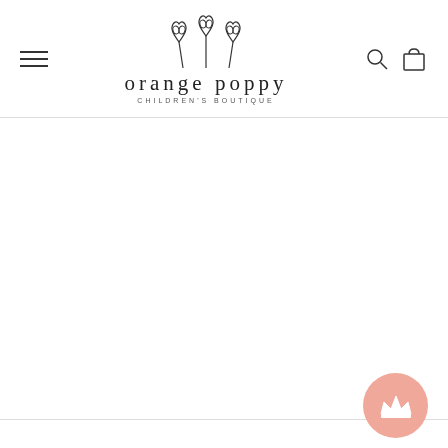[Figure (logo): Orange Poppy Children's Boutique logo with three poppy flower illustrations above the text 'orange poppy' and subtitle 'CHILDREN'S BOUTIQUE']
[Figure (illustration): Pink circular button with white crown icon in the bottom right corner]